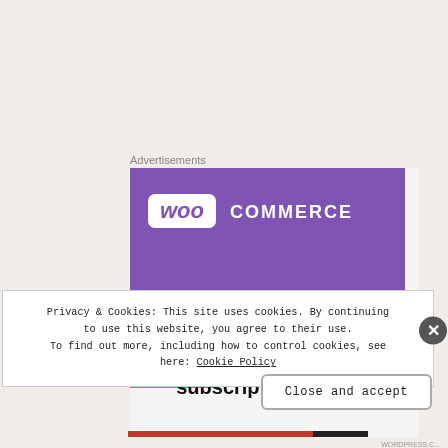Advertisements
[Figure (screenshot): WooCommerce advertisement banner showing purple logo area with 'woo COMMERCE' branding, green triangle shape lower left, teal quarter-circle lower right, and headline text 'How to start selling subscriptions online']
Privacy & Cookies: This site uses cookies. By continuing to use this website, you agree to their use. To find out more, including how to control cookies, see here: Cookie Policy
Close and accept